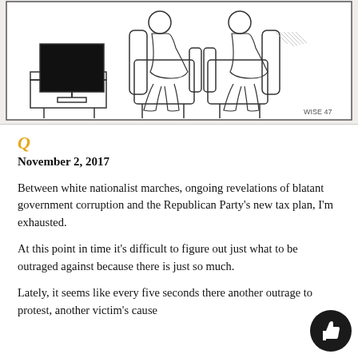[Figure (illustration): A pencil sketch illustration showing two people sitting in armchairs watching a TV/monitor on a stand. The TV screen is black. Artist signature reads 'WISE 47' in the bottom right corner.]
Q
November 2, 2017
Between white nationalist marches, ongoing revelations of blatant government corruption and the Republican Party's new tax plan, I'm exhausted.
At this point in time it's difficult to figure out just what to be outraged against because there is just so much.
Lately, it seems like every five seconds there another outrage to protest, another victim's cause